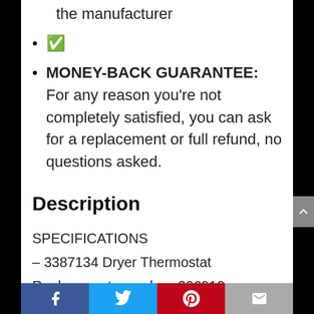the manufacturer
&#9989;
MONEY-BACK GUARANTEE: For any reason you're not completely satisfied, you can ask for a replacement or full refund, no questions asked.
Description
SPECIFICATIONS
– 3387134 Dryer Thermostat
Replace parts number: 306910, 3387135,